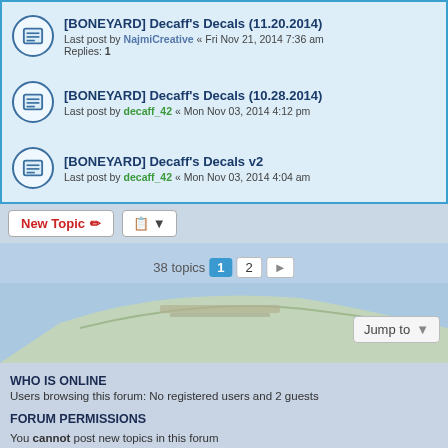[BONEYARD] Decaff's Decals (11.20.2014) — Last post by NajmiCreative « Fri Nov 21, 2014 7:36 am — Replies: 1
[BONEYARD] Decaff's Decals (10.28.2014) — Last post by decaff_42 « Mon Nov 03, 2014 4:12 pm
[BONEYARD] Decaff's Decals v2 — Last post by decaff_42 « Mon Nov 03, 2014 4:04 am
38 topics  1  2  >
Jump to
WHO IS ONLINE
Users browsing this forum: No registered users and 2 guests
FORUM PERMISSIONS
You cannot post new topics in this forum
You cannot reply to topics in this forum
You cannot edit your posts in this forum
You cannot delete your posts in this forum
You cannot post attachments in this forum
G Select Language ▼